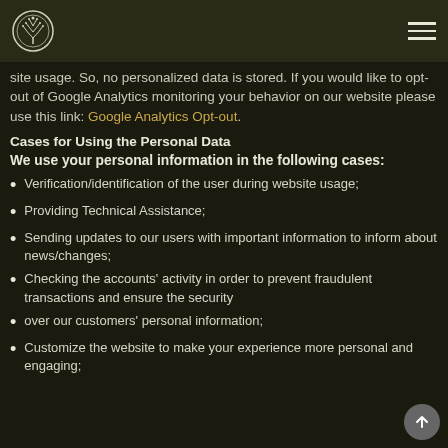[Logo] [Hamburger menu]
site usage. So, no personalized data is stored. If you would like to opt-out of Google Analytics monitoring your behavior on our website please use this link: Google Analytics Opt-out.
Cases for Using the Personal Data
We use your personal information in the following cases:
Verification/identification of the user during website usage;
Providing Technical Assistance;
Sending updates to our users with important information to inform about news/changes;
Checking the accounts' activity in order to prevent fraudulent transactions and ensure the security
over our customers' personal information;
Customize the website to make your experience more personal and engaging;